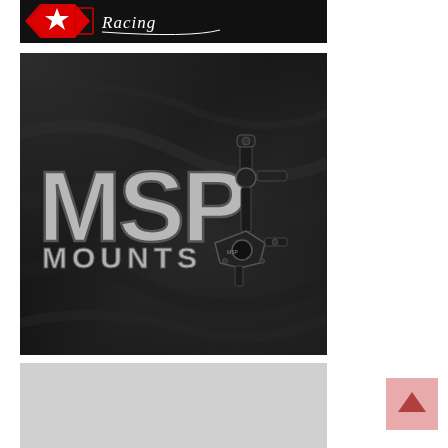[Figure (logo): Racing brand logo with red star emblem and 'Racing' italic script text on dark background]
[Figure (logo): MSP Mounts logo on dark fabric-textured background with silver MSP text and a black camera mount product image]
[Figure (photo): Light gray placeholder image area, partially visible]
[Figure (other): Back-to-top button with upward arrow icon, pinkish/red background, bottom right corner]